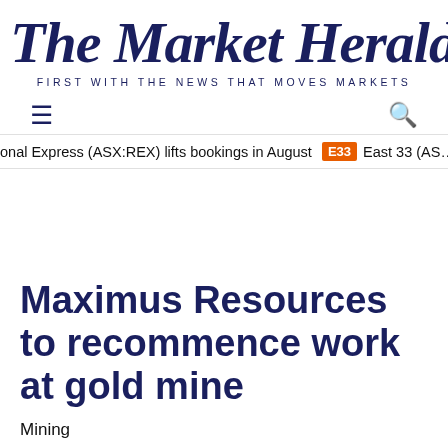The Market Herald
FIRST WITH THE NEWS THAT MOVES MARKETS
onal Express (ASX:REX) lifts bookings in August  E33  East 33 (ASX…
Maximus Resources to recommence work at gold mine
Mining